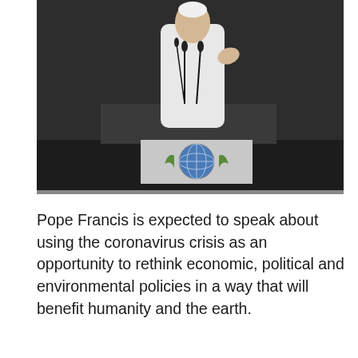[Figure (photo): A person in white papal robes speaking at a podium with microphones, with the United Nations emblem visible below]
Pope Francis is expected to speak about using the coronavirus crisis as an opportunity to rethink economic, political and environmental policies in a way that will benefit humanity and the earth.
Since COVID-19 was officially recognized as a pandemic in early March, the Pope has been urging individuals, organizations and governments to recognize the inequalities the pandemic has highlighted in economics and access to health care and education, as well as the ways current patterns of production and consumption have damaged the environment.
In an interview published on August 27, Cardinal Pietro Parolin, Vatican Secretary of State, was asked what